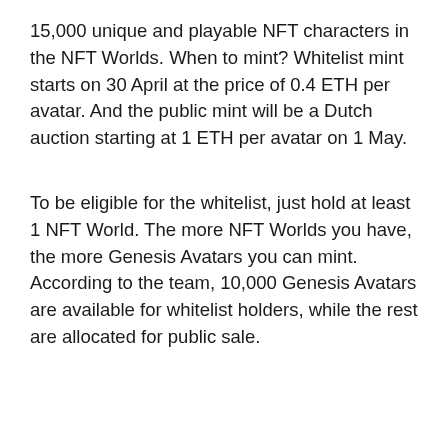15,000 unique and playable NFT characters in the NFT Worlds. When to mint? Whitelist mint starts on 30 April at the price of 0.4 ETH per avatar. And the public mint will be a Dutch auction starting at 1 ETH per avatar on 1 May.
To be eligible for the whitelist, just hold at least 1 NFT World. The more NFT Worlds you have, the more Genesis Avatars you can mint. According to the team, 10,000 Genesis Avatars are available for whitelist holders, while the rest are allocated for public sale.